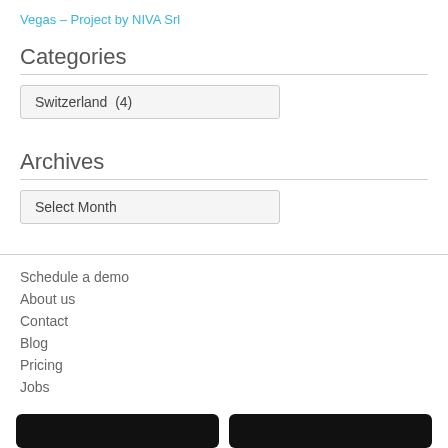Vegas – Project by NIVA Srl
Categories
Switzerland  (4)
Archives
Select Month
Schedule a demo
About us
Contact
Blog
Pricing
Jobs